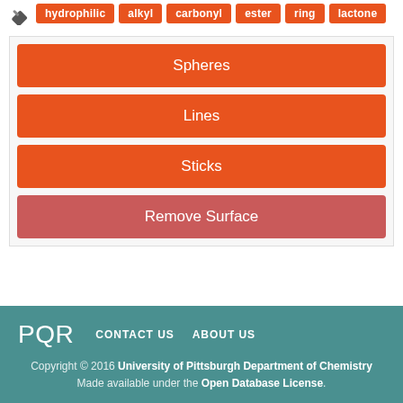hydrophilic
alkyl
carbonyl
ester
ring
lactone
Spheres
Lines
Sticks
Remove Surface
PQR   CONTACT US   ABOUT US   Copyright © 2016 University of Pittsburgh Department of Chemistry   Made available under the Open Database License.